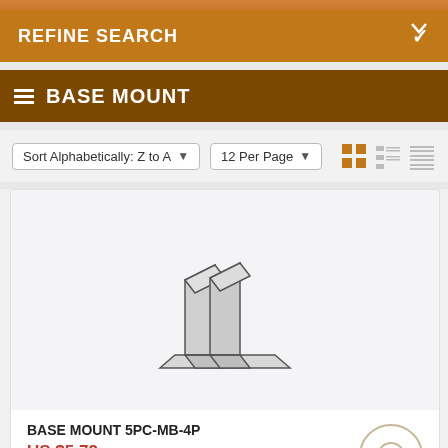REFINE SEARCH
BASE MOUNT
Sort Alphabetically: Z to A   12 Per Page
[Figure (illustration): Isometric illustration of a base mount product showing two triangular wedge-shaped components sitting on a flat rectangular base, drawn in outline style with gray fill]
BASE MOUNT 5PC-MB-4P
US $5.72